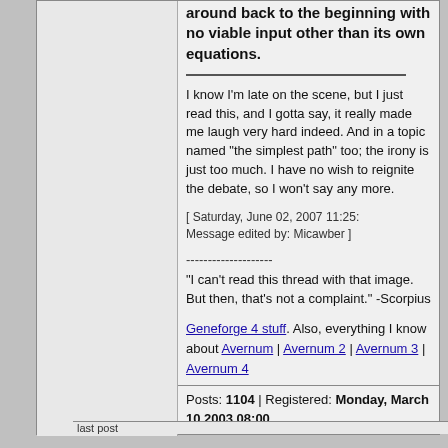around back to the beginning with no viable input other than its own equations.
I know I'm late on the scene, but I just read this, and I gotta say, it really made me laugh very hard indeed. And in a topic named "the simplest path" too; the irony is just too much. I have no wish to reignite the debate, so I won't say any more.
[ Saturday, June 02, 2007 11:25: Message edited by: Micawber ]
--------------------
"I can't read this thread with that image. But then, that's not a complaint." -Scorpius
Geneforge 4 stuff. Also, everything I know about Avernum | Avernum 2 | Avernum 3 | Avernum 4
Posts: 1104 | Registered: Monday, March 10 2003 08:00
last post